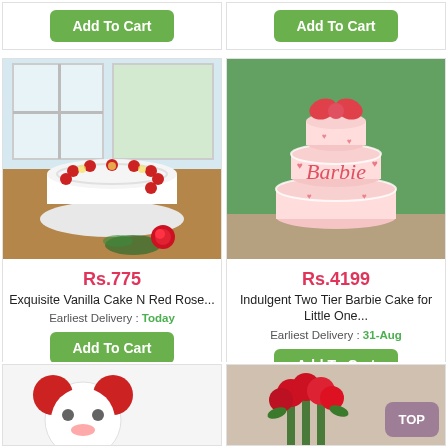Add To Cart
Add To Cart
[Figure (photo): White vanilla cake decorated with red cherries and yellow roses, with a red rose beside it on a wooden table]
Rs.775
Exquisite Vanilla Cake N Red Rose...
Earliest Delivery : Today
Add To Cart
[Figure (photo): Two-tier pink Barbie themed cake with red bow on top, hearts and Barbie silhouette decoration, on outdoor table]
Rs.4199
Indulgent Two Tier Barbie Cake for Little One...
Earliest Delivery : 31-Aug
Add To Cart
[Figure (photo): Red and white plush toy with round ears, partially visible at bottom of page]
[Figure (photo): Bouquet of red roses, partially visible at bottom of page]
TOP